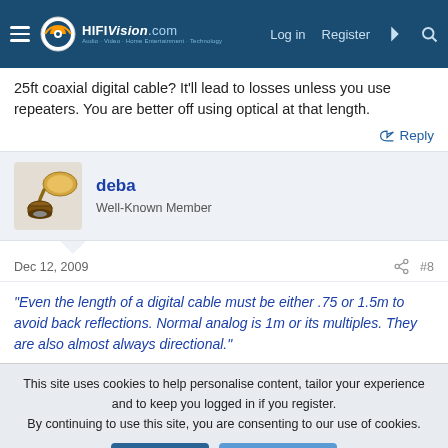HiFiVision.com — Log in | Register
25ft coaxial digital cable? It'll lead to losses unless you use repeaters. You are better off using optical at that length.
Reply
[Figure (illustration): User avatar: vintage gramophone/phonograph illustration]
deba
Well-Known Member
Dec 12, 2009  #8
"Even the length of a digital cable must be either .75 or 1.5m to avoid back reflections. Normal analog is 1m or its multiples. They are also almost always directional."
This site uses cookies to help personalise content, tailor your experience and to keep you logged in if you register.
By continuing to use this site, you are consenting to our use of cookies.
Accept  Learn more...